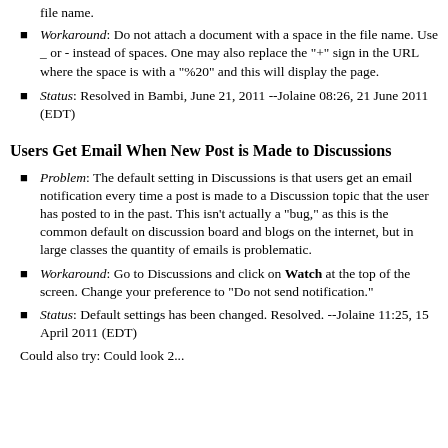Workaround: Do not attach a document with a space in the file name. Use _ or - instead of spaces. One may also replace the "+" sign in the URL where the space is with a "%20" and this will display the page.
Status: Resolved in Bambi, June 21, 2011 --Jolaine 08:26, 21 June 2011 (EDT)
Users Get Email When New Post is Made to Discussions
Problem: The default setting in Discussions is that users get an email notification every time a post is made to a Discussion topic that the user has posted to in the past. This isn't actually a "bug," as this is the common default on discussion board and blogs on the internet, but in large classes the quantity of emails is problematic.
Workaround: Go to Discussions and click on Watch at the top of the screen. Change your preference to "Do not send notification."
Status: Default settings has been changed. Resolved. --Jolaine 11:25, 15 April 2011 (EDT)
Could also try: Could look 2...